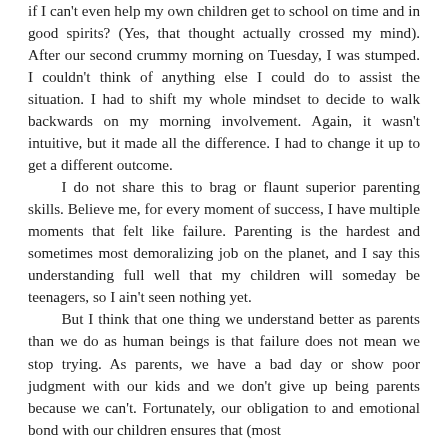if I can't even help my own children get to school on time and in good spirits? (Yes, that thought actually crossed my mind). After our second crummy morning on Tuesday, I was stumped. I couldn't think of anything else I could do to assist the situation. I had to shift my whole mindset to decide to walk backwards on my morning involvement. Again, it wasn't intuitive, but it made all the difference. I had to change it up to get a different outcome.

I do not share this to brag or flaunt superior parenting skills. Believe me, for every moment of success, I have multiple moments that felt like failure. Parenting is the hardest and sometimes most demoralizing job on the planet, and I say this understanding full well that my children will someday be teenagers, so I ain't seen nothing yet.

But I think that one thing we understand better as parents than we do as human beings is that failure does not mean we stop trying. As parents, we have a bad day or show poor judgment with our kids and we don't give up being parents because we can't. Fortunately, our obligation to and emotional bond with our children ensures that (most